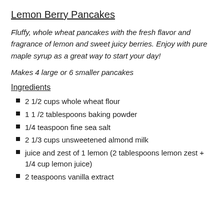Lemon Berry Pancakes
Fluffy, whole wheat pancakes with the fresh flavor and fragrance of lemon and sweet juicy berries. Enjoy with pure maple syrup as a great way to start your day!
Makes 4 large or 6 smaller pancakes
Ingredients
2 1/2 cups whole wheat flour
1 1 /2 tablespoons baking powder
1/4 teaspoon fine sea salt
2 1/3 cups unsweetened almond milk
juice and zest of 1 lemon (2 tablespoons lemon zest + 1/4 cup lemon juice)
2 teaspoons vanilla extract